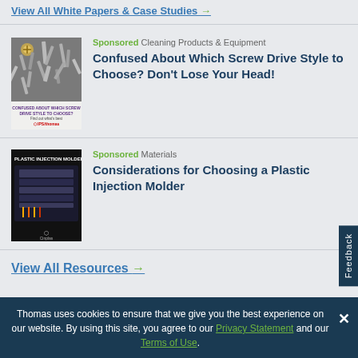View All White Papers & Case Studies →
Sponsored Cleaning Products & Equipment
Confused About Which Screw Drive Style to Choose? Don't Lose Your Head!
[Figure (photo): Book cover image showing screws and metal fasteners with title 'Confused About Which Screw Drive Style to Choose?']
Sponsored Materials
Considerations for Choosing a Plastic Injection Molder
[Figure (photo): Book cover image for 'Plastic Injection Molder' showing injection mold machinery]
View All Resources →
Thomas uses cookies to ensure that we give you the best experience on our website. By using this site, you agree to our Privacy Statement and our Terms of Use.